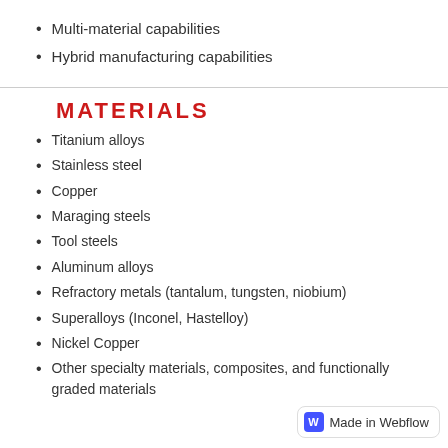Multi-material capabilities
Hybrid manufacturing capabilities
MATERIALS
Titanium alloys
Stainless steel
Copper
Maraging steels
Tool steels
Aluminum alloys
Refractory metals (tantalum, tungsten, niobium)
Superalloys (Inconel, Hastelloy)
Nickel Copper
Other specialty materials, composites, and functionally graded materials